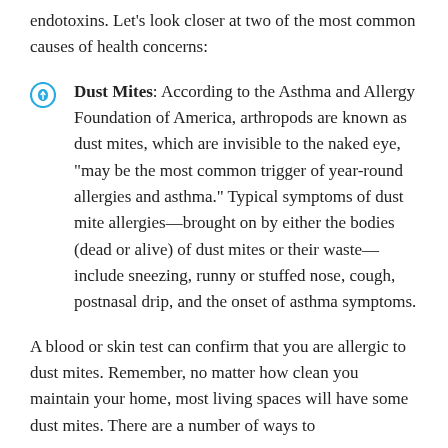endotoxins. Let’s look closer at two of the most common causes of health concerns:
Dust Mites: According to the Asthma and Allergy Foundation of America, arthropods are known as dust mites, which are invisible to the naked eye, “may be the most common trigger of year-round allergies and asthma.” Typical symptoms of dust mite allergies—brought on by either the bodies (dead or alive) of dust mites or their waste—include sneezing, runny or stuffed nose, cough, postnasal drip, and the onset of asthma symptoms.
A blood or skin test can confirm that you are allergic to dust mites. Remember, no matter how clean you maintain your home, most living spaces will have some dust mites. There are a number of ways to